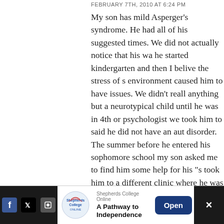FEBRUARY 7TH, 2010 AT 6:24 PM
My son has mild Asperger’s syndrome. He had all of his suggested times. We did not actually notice that his wa he started kindergarten and then I belive the stress of s environment caused him to have issues. We didn’t reall anything but a neurotypical child until he was in 4th or psychologist we took him to said he did not have an aut disorder. The summer before he entered his sophomore school my son asked me to find him some help for his “s took him to a different clinic where he was tested again determined to be mildly Asperger’s and started in a soc individual sessions every other week and now, 2 years l much more like other kids his age. He will always have s but he is so much better now with the help of people w understand autistic spectrum disorders. My husband, v also exhibits some mild Asperger’s tendencies so we pr this to be a genetic condition. I have talked to people in believe their children “got” autism from vaccines; I just
[Figure (screenshot): Advertisement bar at bottom: Shepherds College Online 'A Pathway to Independence' with Open button, social media icons on left, dark panel on right with X close button]